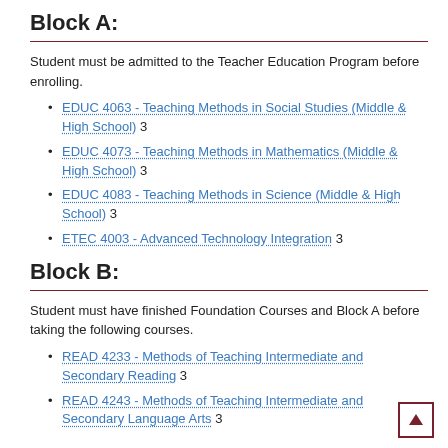Block A:
Student must be admitted to the Teacher Education Program before enrolling.
EDUC 4063 - Teaching Methods in Social Studies (Middle & High School) 3
EDUC 4073 - Teaching Methods in Mathematics (Middle & High School) 3
EDUC 4083 - Teaching Methods in Science (Middle & High School) 3
ETEC 4003 - Advanced Technology Integration 3
Block B:
Student must have finished Foundation Courses and Block A before taking the following courses.
READ 4233 - Methods of Teaching Intermediate and Secondary Reading 3
READ 4243 - Methods of Teaching Intermediate and Secondary Language Arts 3